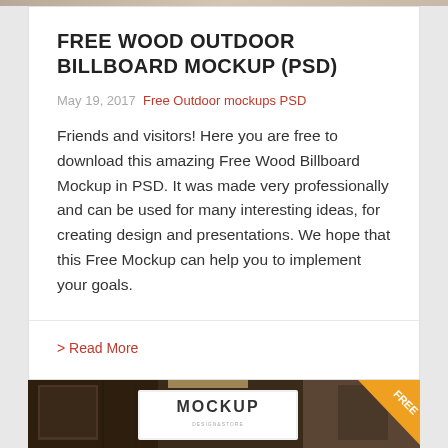FREE WOOD OUTDOOR BILLBOARD MOCKUP (PSD)
May 19, 2017  Free Outdoor mockups PSD
Friends and visitors! Here you are free to download this amazing Free Wood Billboard Mockup in PSD. It was made very professionally and can be used for many interesting ideas, for creating design and presentations. We hope that this Free Mockup can help you to implement your goals.
> Read More
[Figure (photo): A photo showing a mockup billboard display in an indoor environment, with an orange FREE badge in the corner and the text MOCKUP visible on a sign.]